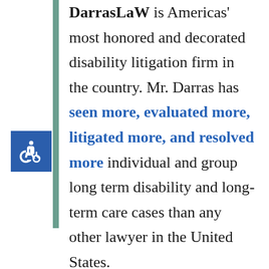DarrasLaW is Americas' most honored and decorated disability litigation firm in the country. Mr. Darras has seen more, evaluated more, litigated more, and resolved more individual and group long term disability and long-term care cases than any other lawyer in the United States.
[Figure (illustration): Blue square box containing a white wheelchair accessibility icon]